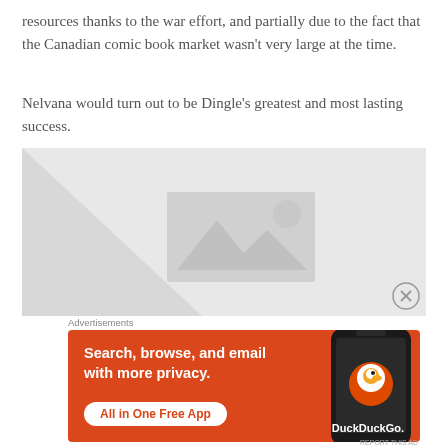resources thanks to the war effort, and partially due to the fact that the Canadian comic book market wasn’t very large at the time.
Nelvana would turn out to be Dingle’s greatest and most lasting success.
[Figure (photo): Placeholder image with grey background and image icon in the center]
Advertisements
[Figure (illustration): DuckDuckGo advertisement: orange background with text 'Search, browse, and email with more privacy. All in One Free App' and a phone graphic with the DuckDuckGo logo and brand name]